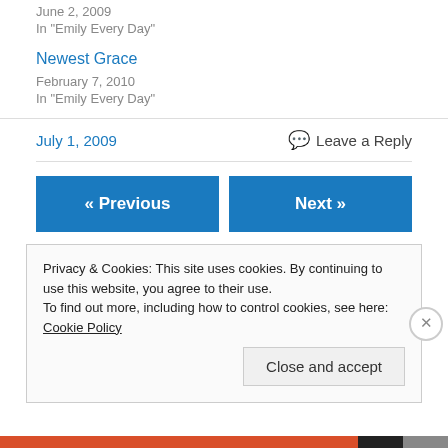June 2, 2009
In "Emily Every Day"
Newest Grace
February 7, 2010
In "Emily Every Day"
July 1, 2009
Leave a Reply
« Previous
Next »
Privacy & Cookies: This site uses cookies. By continuing to use this website, you agree to their use.
To find out more, including how to control cookies, see here: Cookie Policy
Close and accept